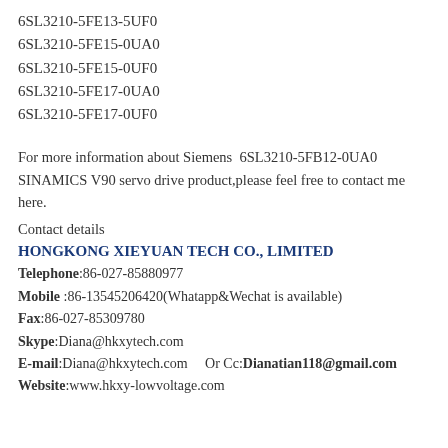6SL3210-5FE13-5UF0
6SL3210-5FE15-0UA0
6SL3210-5FE15-0UF0
6SL3210-5FE17-0UA0
6SL3210-5FE17-0UF0
For more information about Siemens 6SL3210-5FB12-0UA0 SINAMICS V90 servo drive product,please feel free to contact me here.
Contact details
HONGKONG XIEYUAN TECH CO., LIMITED
Telephone:86-027-85880977
Mobile :86-13545206420(Whatapp&Wechat is available)
Fax:86-027-85309780
Skype:Diana@hkxytech.com
E-mail:Diana@hkxytech.com    Or Cc:Dianatian118@gmail.com
Website:www.hkxy-lowvoltage.com